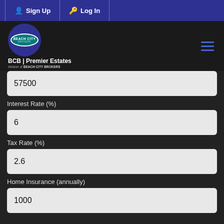Sign Up  Log In
[Figure (logo): Beach City Brokers logo with BCB Premier Estates branding on dark background]
57500
Interest Rate (%)
6
Tax Rate (%)
2.6
Home Insurance (annually)
1000